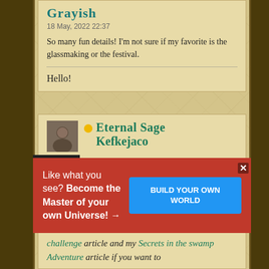Grayish
18 May, 2022 22:37
So many fun details! I'm not sure if my favorite is the glassmaking or the festival.
Hello!
Eternal Sage Kefkejaco
20 May, 2022 20:29
Nice article! Especially liked the way you
Like what you see? Become the Master of your own Universe! →
BUILD YOUR OWN WORLD
challenge article and my Secrets in the swamp Adventure article if you want to